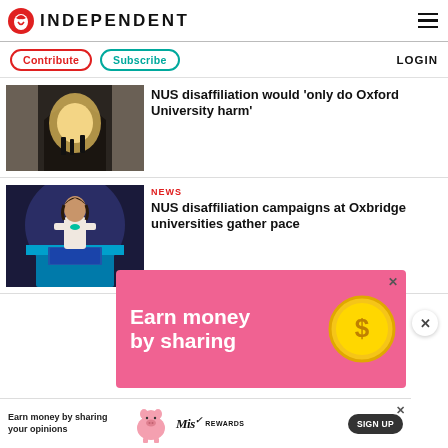INDEPENDENT
Contribute | Subscribe | LOGIN
[Figure (photo): Archway at Oxford University with people walking through lit tunnel]
NUS disaffiliation would 'only do Oxford University harm'
NEWS
[Figure (photo): Woman speaking at podium at NUS event]
NUS disaffiliation campaigns at Oxbridge universities gather pace
[Figure (infographic): Advertisement: Earn money by sharing – pink banner with coin graphic]
[Figure (infographic): Advertisement strip: Earn money by sharing your opinions – MisRewards with pig graphic and Sign Up button]